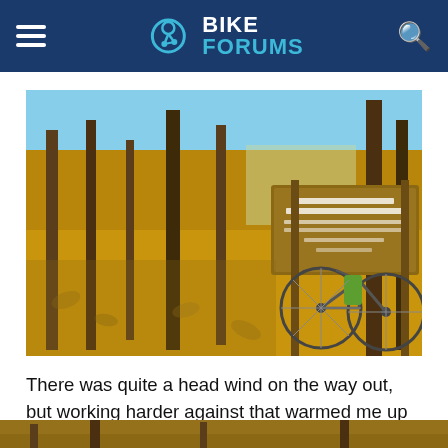BIKE FORUMS
[Figure (photo): Mountain bike leaning against a conservation area sign in an autumn woodland setting with fallen leaves covering the ground and bare trees in the background]
There was quite a head wind on the way out, but working harder against that warmed me up quickly. I wore the Pearl Izumi AmFib gloves I got last Spring:
[Figure (photo): Partial view of another photograph at the bottom of the page]